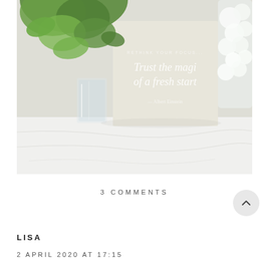[Figure (photo): A styled flat lay photo showing a cream-colored card with serif text 'RETHINK YOUR FOCUS...' and 'Trust the magic of a fresh start' overlaid in white, surrounded by green foliage, a glass vase, and white cotton balls on a white marble surface.]
3 COMMENTS
LISA
2 APRIL 2020 AT 17:15